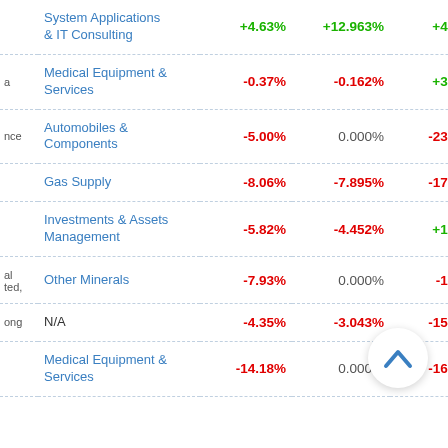|  | Sector | Val1 | Val2 | Val3 |
| --- | --- | --- | --- | --- |
|  | System Applications & IT Consulting | +4.63% | +12.963% | +4.630% |
| a | Medical Equipment & Services | -0.37% | -0.162% | +3.490% |
| nce | Automobiles & Components | -5.00% | 0.000% | -23.889% |
|  | Gas Supply | -8.06% | -7.895% | -17.763% |
|  | Investments & Assets Management | -5.82% | -4.452% | +1.507% |
| al
ted, | Other Minerals | -7.93% | 0.000% | -1.220% |
| ong | N/A | -4.35% | -3.043% | -15.377% |
|  | Medical Equipment & Services | -14.18% | 0.000% | -16.045% |